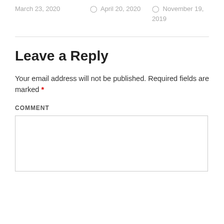March 23, 2020
April 20, 2020
November 19, 2019
Leave a Reply
Your email address will not be published. Required fields are marked *
COMMENT